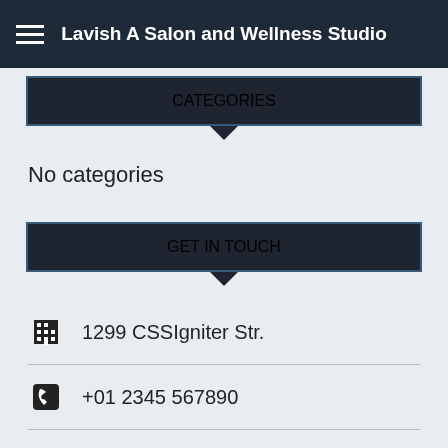Lavish A Salon and Wellness Studio
CATEGORIES
No categories
GET IN TOUCH
1299 CSSIgniter Str.
+01 2345 567890
info@salon.salon